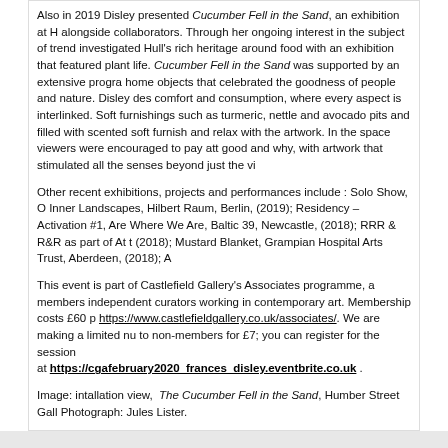Also in 2019 Disley presented Cucumber Fell in the Sand, an exhibition at H alongside collaborators. Through her ongoing interest in the subject of trend investigated Hull's rich heritage around food with an exhibition that featured plant life. Cucumber Fell in the Sand was supported by an extensive progam home objects that celebrated the goodness of people and nature. Disley des comfort and consumption, where every aspect is interlinked. Soft furnishings such as turmeric, nettle and avocado pits and filled with scented soft furnish and relax with the artwork. In the space viewers were encouraged to pay att good and why, with artwork that stimulated all the senses beyond just the vi.
Other recent exhibitions, projects and performances include : Solo Show, O Inner Landscapes, Hilbert Raum, Berlin, (2019); Residency – Activation #1, Are Where We Are, Baltic 39, Newcastle, (2018); RRR & R&R as part of At t (2018); Mustard Blanket, Grampian Hospital Arts Trust, Aberdeen, (2018); A
This event is part of Castlefield Gallery's Associates programme, a members independent curators working in contemporary art. Membership costs £60 p https://www.castlefieldgallery.co.uk/associates/. We are making a limited nu to non-members for £7; you can register for the session at https://cgafebruary2020_frances_disley.eventbrite.co.uk .
Image: intallation view, The Cucumber Fell in the Sand, Humber Street Gall Photograph: Jules Lister.
FUNDERS    SPONS...